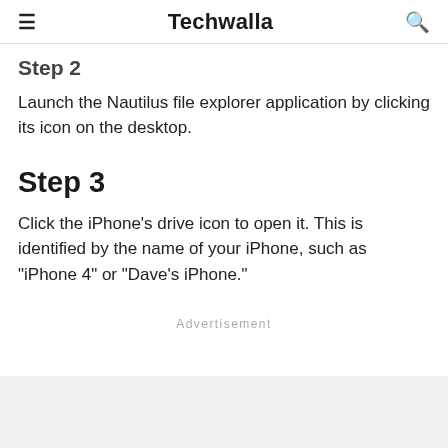Techwalla
Step 2
Launch the Nautilus file explorer application by clicking its icon on the desktop.
Step 3
Click the iPhone's drive icon to open it. This is identified by the name of your iPhone, such as "iPhone 4" or "Dave's iPhone."
Advertisement